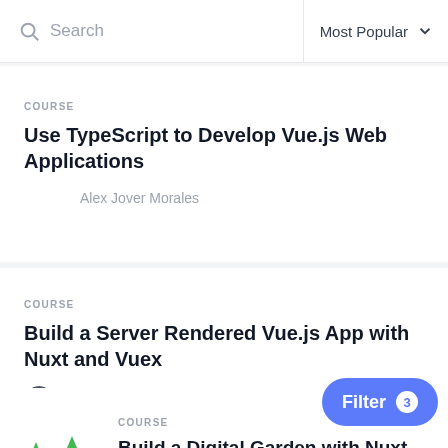Search | Most Popular
COURSE
Use TypeScript to Develop Vue.js Web Applications
Alex Jover Morales
COURSE
Build a Server Rendered Vue.js App with Nuxt and Vuex
John Lindquist
COURSE
Build a Digital Garden with Nuxt and Content Module
Ben Hong